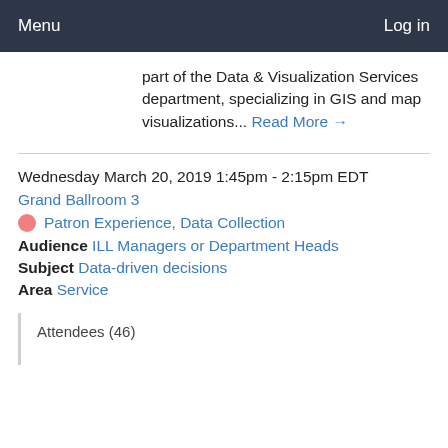Menu   Log in
part of the Data & Visualization Services department, specializing in GIS and map visualizations... Read More →
Wednesday March 20, 2019 1:45pm - 2:15pm EDT
Grand Ballroom 3
Patron Experience, Data Collection
Audience ILL Managers or Department Heads
Subject Data-driven decisions
Area Service
Attendees (46)